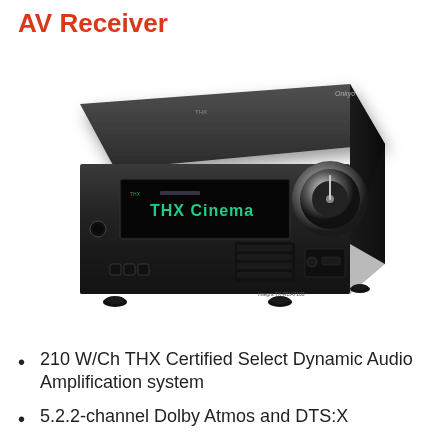AV Receiver
[Figure (photo): Onkyo AV Receiver front view showing display reading 'THX Cinema', volume knob on right, and various controls on front panel. Black finish.]
210 W/Ch THX Certified Select Dynamic Audio Amplification system
5.2.2-channel Dolby Atmos and DTS:X